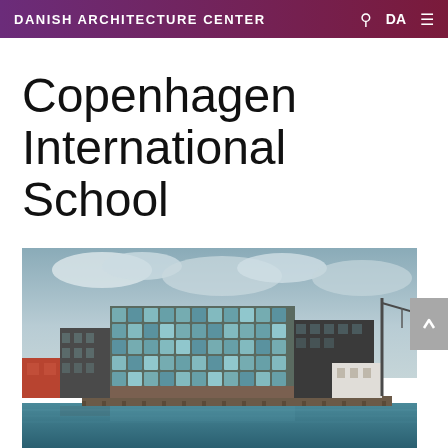DANISH ARCHITECTURE CENTER
Copenhagen International School
Education
[Figure (photo): Exterior photograph of Copenhagen International School building viewed from the water. The building features a striking modern facade covered in blue-green panels, situated at a harbor with cranes and historic buildings visible in the background under a cloudy sky.]